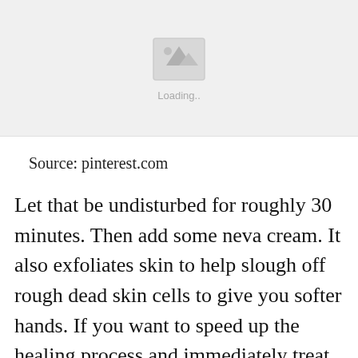[Figure (photo): Image loading placeholder with mountain/image icon and 'Loading..' text on a light grey background]
Source: pinterest.com
Let that be undisturbed for roughly 30 minutes. Then add some neva cream. It also exfoliates skin to help slough off rough dead skin cells to give you softer hands. If you want to speed up the healing process and immediately treat symptoms, consider